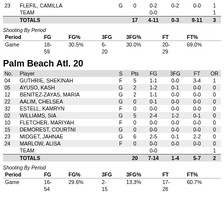| No. | Player | S | Pts | FG | 3FG | FT | OR |
| --- | --- | --- | --- | --- | --- | --- | --- |
| 23 | FLEFIL, CAMILLA | G | 0 | 0-2 | 0-2 | 0-0 | 1 |
|  | TEAM |  |  | 0-0 |  |  | 1 |
|  | TOTALS |  | 17 | 4-11 | 0-3 | 9-11 | 3 |
Shooting By Period
| Period | FG | FG% | 3FG | 3FG% | FT | FT% |
| --- | --- | --- | --- | --- | --- | --- |
| Game | 18- | 30.5% | 6- | 30.0% | 20- | 69.0% |
|  | 59 |  | 20 |  | 29 |  |
Palm Beach Atl. 20
| No. | Player | S | Pts | FG | 3FG | FT | OR |
| --- | --- | --- | --- | --- | --- | --- | --- |
| 04 | GUTHRIE, SHEKINAH | F | 5 | 1-1 | 0-0 | 3-4 | 1 |
| 05 | AYUSO, KASH | G | 2 | 1-2 | 0-1 | 0-0 | 0 |
| 12 | BENITEZ-ZAYAS, MARIA | G | 2 | 1-1 | 0-0 | 0-0 | 0 |
| 22 | AALIM, CHELSEA | G | 0 | 0-1 | 0-0 | 0-0 | 0 |
| 32 | ESTELL, KAMRYN | F | 0 | 0-0 | 0-0 | 0-0 | 0 |
| 02 | WILLIAMS, SIA | G | 5 | 2-4 | 1-2 | 0-1 | 0 |
| 10 | FLETCHER, MARIYAH | F | 0 | 0-0 | 0-0 | 0-0 | 0 |
| 15 | DEMOREST, COURTNI | G | 0 | 0-0 | 0-0 | 0-0 | 0 |
| 23 | MIDGET, JAHNAE | G | 6 | 2-5 | 0-1 | 2-2 | 0 |
| 24 | MARLOW, ALISA | F | 0 | 0-0 | 0-0 | 0-0 | 0 |
|  | TEAM |  |  | 0-0 |  |  | 1 |
|  | TOTALS |  | 20 | 7-14 | 1-4 | 5-7 | 2 |
Shooting By Period
| Period | FG | FG% | 3FG | 3FG% | FT | FT% |
| --- | --- | --- | --- | --- | --- | --- |
| Game | 16- | 29.6% | 2- | 13.3% | 17- | 60.7% |
|  | 54 |  | 15 |  | 28 |  |